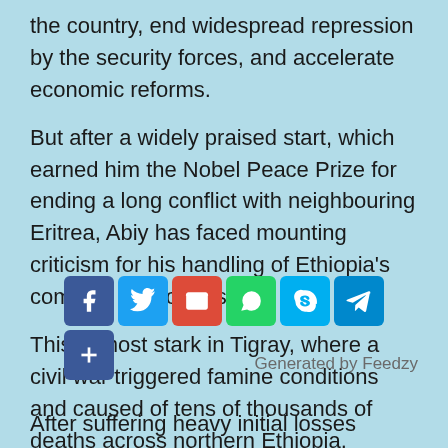the country, end widespread repression by the security forces, and accelerate economic reforms.
But after a widely praised start, which earned him the Nobel Peace Prize for ending a long conflict with neighbouring Eritrea, Abiy has faced mounting criticism for his handling of Ethiopia's complex ethnic divisions.
This is most stark in Tigray, where a civil war triggered famine conditions and caused of tens of thousands of deaths across northern Ethiopia.
[Figure (screenshot): Social media share buttons: Facebook, Twitter, Email, WhatsApp, Skype, Telegram, and a more/share button. 'Generated by Feedzy' label to the right.]
After suffering heavy initial losses